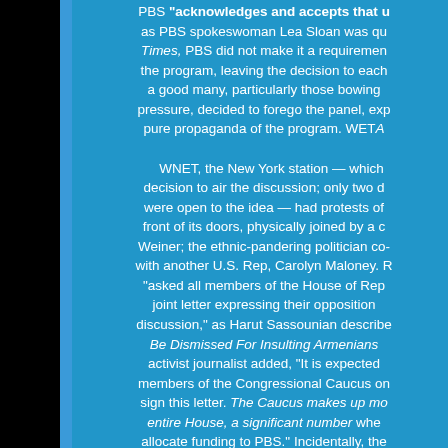PBS "acknowledges and accepts that" as PBS spokeswoman Lea Sloan was quoted in the Times, PBS did not make it a requirement of the program, leaving the decision to each — a good many, particularly those bowing pressure, decided to forego the panel, expressing pure propaganda of the program. WETA — WNET, the New York station — which decision to air the discussion; only two o were open to the idea — had protests of front of its doors, physically joined by a c Weiner; the ethnic-pandering politician co- with another U.S. Rep, Carolyn Maloney. R "asked all members of the House of Rep joint letter expressing their opposition discussion," as Harut Sassounian describe Be Dismissed For Insulting Armenians activist journalist added, "It is expected members of the Congressional Caucus on sign this letter. The Caucus makes up mo entire House, a significant number whe allocate funding to PBS." Incidentally, the attacked, Jacoba Atlas, was very much in having described these events as "sett